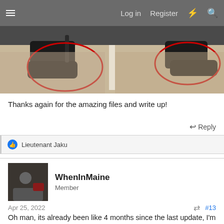Log in   Register
[Figure (photo): Photo of two gun/rifle parts (buttstocks or similar black plastic components) laid on carpet, each circled in red marker to highlight them. The photo is cropped showing just the lower portion.]
Thanks again for the amazing files and write up!
Reply
Lieutenant Jaku
WhenInMaine
Member
Apr 25, 2022    #13
Oh man, its already been like 4 months since the last update, I'm so terrible at this! Today will be a short post, as its super late, but some content is better than none!